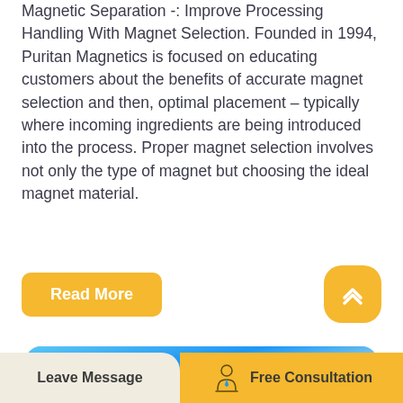Magnetic Separation -: Improve Processing Handling With Magnet Selection. Founded in 1994, Puritan Magnetics is focused on educating customers about the benefits of accurate magnet selection and then, optimal placement – typically where incoming ingredients are being introduced into the process. Proper magnet selection involves not only the type of magnet but choosing the ideal magnet material.
[Figure (screenshot): Read More button (yellow/gold rounded rectangle) and a yellow scroll-to-top button with an upward chevron icon on the right]
[Figure (photo): Blue sky with white clouds photograph, cropped at the bottom of the visible area, with rounded top corners]
[Figure (infographic): Bottom navigation bar with two sections: left section 'Leave Message' on a light beige rounded background, and right section 'Free Consultation' on a yellow/gold background with a consultant icon illustration]